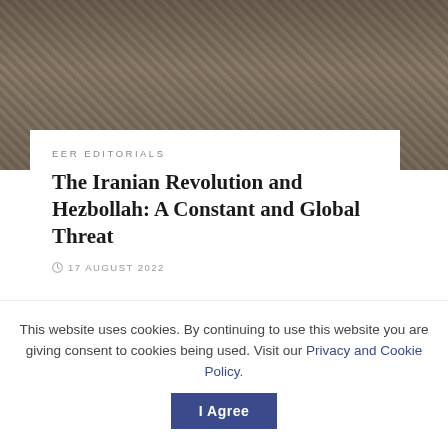[Figure (photo): Aerial or ground-level photo of rubble and destruction, with a soldier visible on the right side]
EER EDITORIALS
The Iranian Revolution and Hezbollah: A Constant and Global Threat
17 AUGUST 2022
[Figure (other): Grey advertisement block]
This website uses cookies. By continuing to use this website you are giving consent to cookies being used. Visit our Privacy and Cookie Policy.